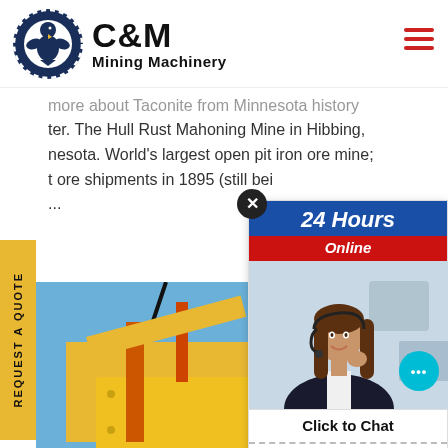[Figure (logo): C&M Mining Machinery logo with eagle in gear circle and company name]
more about Taconite from Minnesota history ter. The Hull Rust Mahoning Mine in Hibbing, nesota. World's largest open pit iron ore mine; t ore shipments in 1895 (still bei ...
[Figure (photo): Yellow and orange mining equipment against blue sky]
[Figure (photo): 24 Hours Online chat widget with customer service representative]